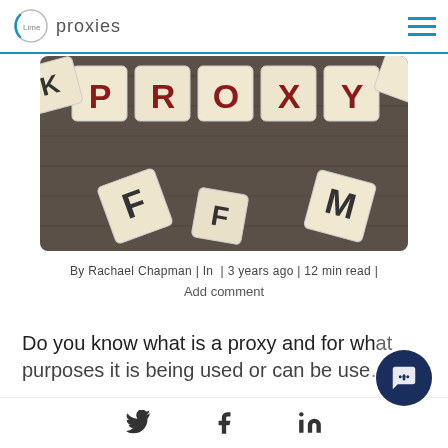Lime proxies
[Figure (photo): Scrabble-like wooden letter tiles spelling PROXY on a dark wooden surface, with scattered tiles showing letters F, M, K, and others around them.]
By Rachael Chapman | In | 3 years ago | 12 min read |
Add comment
Do you know what is a proxy and for what purposes it is being used or can be use…